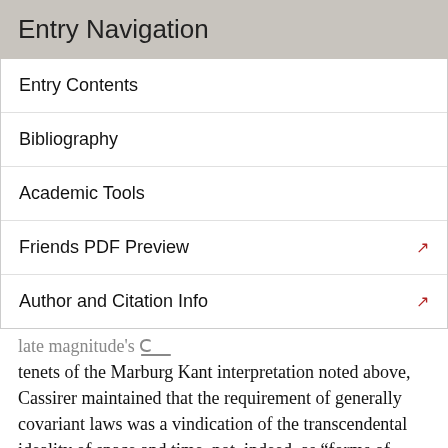Entry Navigation
Entry Contents
Bibliography
Academic Tools
Friends PDF Preview
Author and Citation Info
... tenets of the Marburg Kant interpretation noted above, Cassirer maintained that the requirement of generally covariant laws was a vindication of the transcendental ideality of space and time, not, indeed, as “forms of intuition” but as “objectifying conditions” that further “de-anthropomorphized” the concept of object in physics, rendering it “purely symbolic”. In this regard, the requirement of general covariance had significantly improved upon Kant in bringing out far more clearly the exclusively methodological role of these conditions in empirical cognition, a role Kant misleadingly assigned to